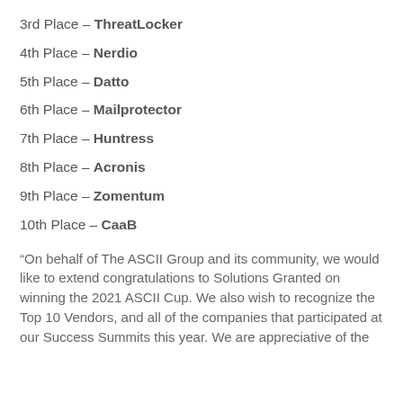3rd Place – ThreatLocker
4th Place – Nerdio
5th Place – Datto
6th Place – Mailprotector
7th Place – Huntress
8th Place – Acronis
9th Place – Zomentum
10th Place – CaaB
“On behalf of The ASCII Group and its community, we would like to extend congratulations to Solutions Granted on winning the 2021 ASCII Cup. We also wish to recognize the Top 10 Vendors, and all of the companies that participated at our Success Summits this year. We are appreciative of the